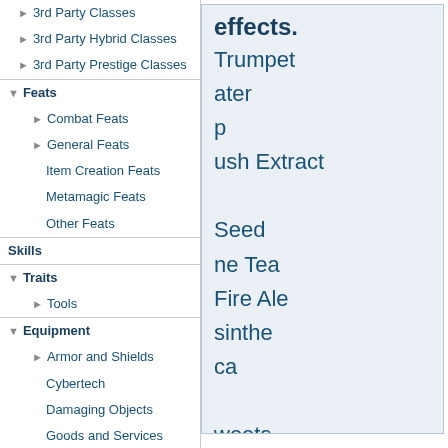3rd Party Classes
3rd Party Hybrid Classes
3rd Party Prestige Classes
Feats
Combat Feats
General Feats
Item Creation Feats
Metamagic Feats
Other Feats
Skills
Traits
Tools
Equipment
Armor and Shields
Cybertech
Damaging Objects
Goods and Services
Special Materials
Technological Equipment
Vehicles
Weapons
Weapon & Armor Accessories
3rd Party Equipment
effects. Trumpet ater p ush Extract Seed ne Tea Fire Ale sinthe ca weets d Concentrate d Mist ust